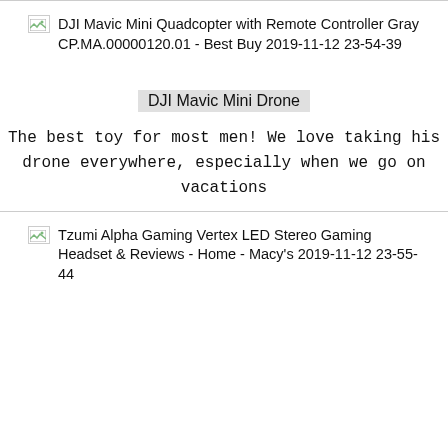[Figure (screenshot): Broken image icon followed by text: DJI Mavic Mini Quadcopter with Remote Controller Gray CP.MA.00000120.01 - Best Buy 2019-11-12 23-54-39]
DJI Mavic Mini Drone
The best toy for most men! We love taking his drone everywhere, especially when we go on vacations
[Figure (screenshot): Broken image icon followed by text: Tzumi Alpha Gaming Vertex LED Stereo Gaming Headset & Reviews - Home - Macy's 2019-11-12 23-55-44]